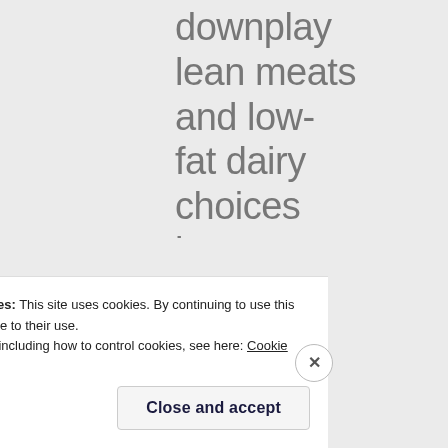downplay lean meats and low-fat dairy choices because the meat and milk lobbies believed
Privacy & Cookies: This site uses cookies. By continuing to use this website, you agree to their use.
To find out more, including how to control cookies, see here: Cookie Policy
Close and accept